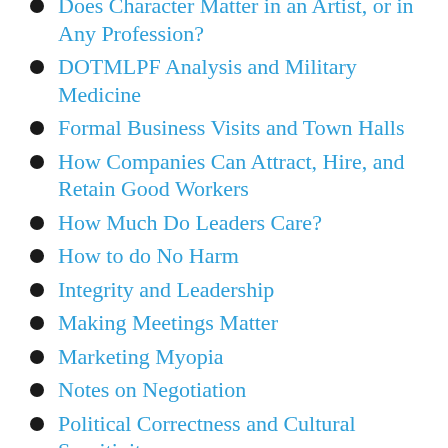Does Character Matter in an Artist, or in Any Profession?
DOTMLPF Analysis and Military Medicine
Formal Business Visits and Town Halls
How Companies Can Attract, Hire, and Retain Good Workers
How Much Do Leaders Care?
How to do No Harm
Integrity and Leadership
Making Meetings Matter
Marketing Myopia
Notes on Negotiation
Political Correctness and Cultural Sensitivity
Religion and the Workplace
Taking Intelligence Threats Seriously
The Dance of the Headquarters